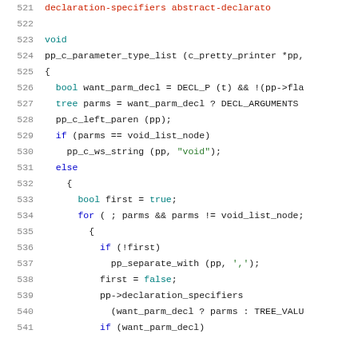[Figure (screenshot): Source code listing in C/C++, lines 521-541, showing a function pp_c_parameter_type_list with syntax highlighting. Line numbers in gray on left, keywords in blue/teal, strings in green, and a red line at top showing declaration-specifiers abstract-declarato...]